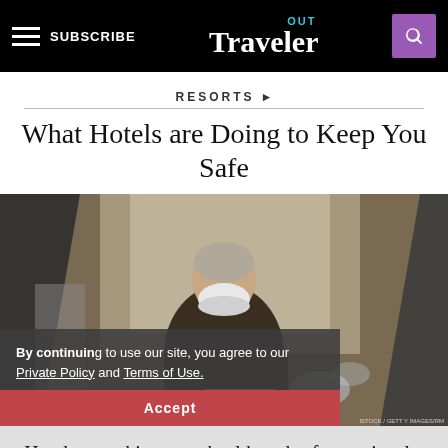OUT Traveler — SUBSCRIBE
RESORTS ▶
What Hotels are Doing to Keep You Safe
[Figure (photo): A hotel worker wearing a mask and white gloves uses a sanitizing spray device on an escalator handrail. A cookie/privacy consent overlay appears in the lower-left of the image with text: 'By continuing to use our site, you agree to our Private Policy and Terms of Use.' and an Accept button.]
Hotels are taking your health and safety seriously. Here's how.